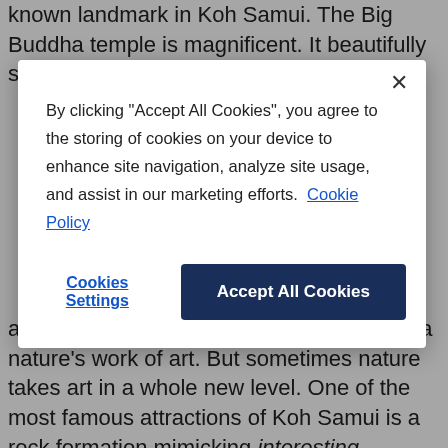known landmark in Koh Samui. The Big Buddha temple is magnificent. It beautifully stands 12-meter tall made of
By clicking "Accept All Cookies", you agree to the storing of cookies on your device to enhance site navigation, analyze site usage, and assist in our marketing efforts. Cookie Policy
Cookies Settings
Accept All Cookies
and beautiful tropical fauna, Koh Samui is a nature's work of art. But sometimes nature takes art in a whole new level. One of the most famous attractions of Koh Samui is a rock formation mimicking interesting objects. Some people find its resemblance to the male and female